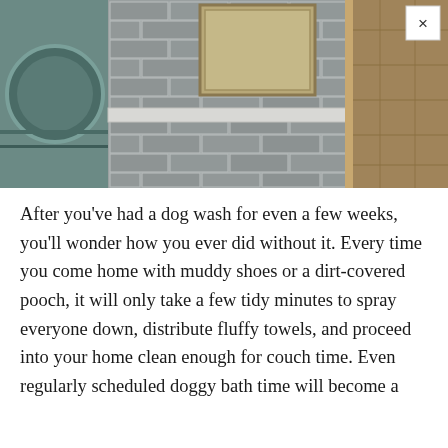[Figure (photo): Interior photo showing a dog wash area with grey subway tile wall, a round appliance (washer/dryer) on the left, a white-framed mirror or window on the wall, and a brown stone/tile floor on the right. An X close button is visible in the top-right corner.]
After you've had a dog wash for even a few weeks, you'll wonder how you ever did without it. Every time you come home with muddy shoes or a dirt-covered pooch, it will only take a few tidy minutes to spray everyone down, distribute fluffy towels, and proceed into your home clean enough for couch time. Even regularly scheduled doggy bath time will become a